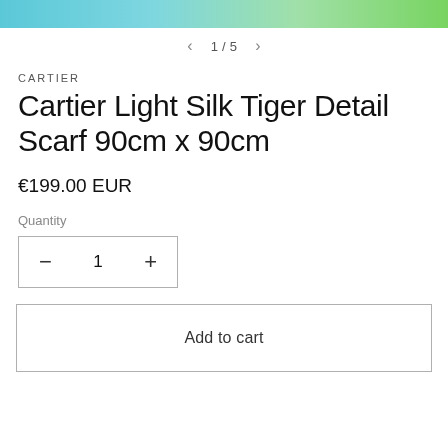[Figure (photo): Partial product image strip showing colorful silk scarf in teal, green, and blue tones at the top of the page]
1 / 5
CARTIER
Cartier Light Silk Tiger Detail Scarf 90cm x 90cm
€199.00 EUR
Quantity
1
Add to cart